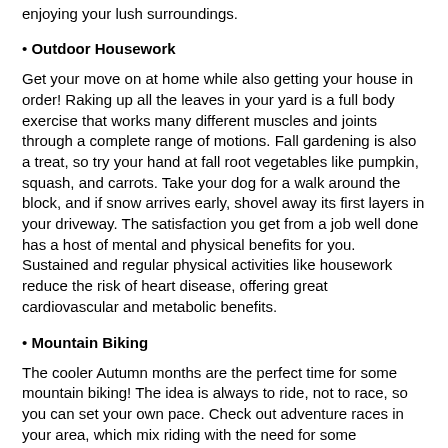enjoying your lush surroundings.
• Outdoor Housework
Get your move on at home while also getting your house in order! Raking up all the leaves in your yard is a full body exercise that works many different muscles and joints through a complete range of motions. Fall gardening is also a treat, so try your hand at fall root vegetables like pumpkin, squash, and carrots. Take your dog for a walk around the block, and if snow arrives early, shovel away its first layers in your driveway. The satisfaction you get from a job well done has a host of mental and physical benefits for you. Sustained and regular physical activities like housework reduce the risk of heart disease, offering great cardiovascular and metabolic benefits.
• Mountain Biking
The cooler Autumn months are the perfect time for some mountain biking! The idea is always to ride, not to race, so you can set your own pace. Check out adventure races in your area, which mix riding with the need for some navigation skills.